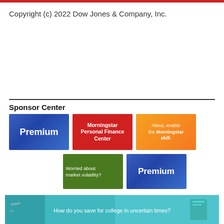Copyright (c) 2022 Dow Jones & Company, Inc.
Sponsor Center
[Figure (infographic): Sponsor Center tiles: Premium (blue gradient), Morningstar Personal Finance Center (red), Alexa enable the Morningstar skill (orange gradient), Worried about market volatility? (green), Premium (blue gradient)]
[Figure (infographic): Advertisement banner: How do you save for college in uncertain times? (teal/cyan background with imagery)]